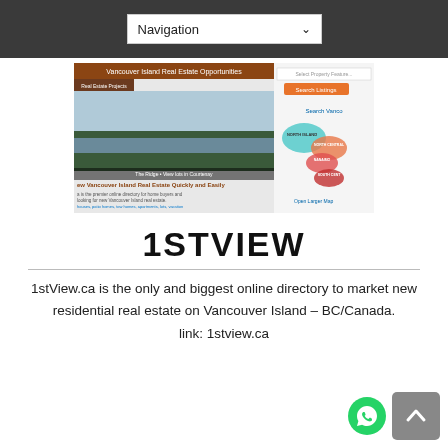Navigation
[Figure (screenshot): Screenshot of Vancouver Island Real Estate website showing property search interface with map and landscape photo]
1STVIEW
1stView.ca is the only and biggest online directory to market new residential real estate on Vancouver Island – BC/Canada. link: 1stview.ca